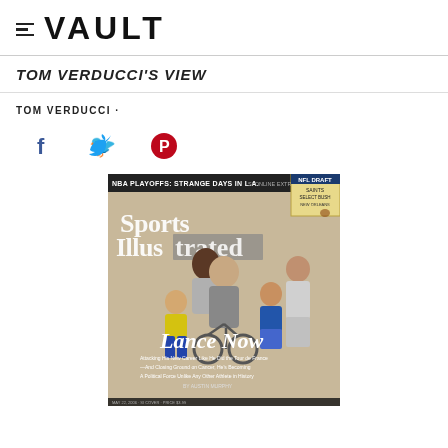VAULT
TOM VERDUCCI'S VIEW
TOM VERDUCCI ·
[Figure (other): Social share icons: Facebook (f), Twitter (bird), Pinterest (P)]
[Figure (photo): Sports Illustrated magazine cover featuring Lance Armstrong on a bicycle with three children, titled 'Lance Now'. Subheadline: 'Attacking His New Career Like He Did the Tour de France — And Closing Ground on Cancer, He's Becoming A Political Force Unlike Any Other Athlete in History'. Also shows 'NBA Playoffs: Strange Days in L.A.' and 'NFL Draft' banners at top.]